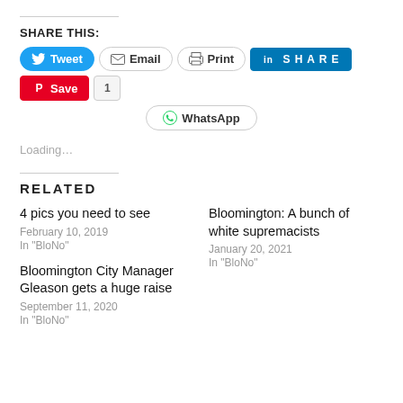SHARE THIS:
[Figure (screenshot): Social share buttons row: Tweet, Email, Print, SHARE (LinkedIn), Save (Pinterest), count 1, and WhatsApp button]
Loading...
RELATED
4 pics you need to see
February 10, 2019
In "BloNo"
Bloomington: A bunch of white supremacists
January 20, 2021
In "BloNo"
Bloomington City Manager Gleason gets a huge raise
September 11, 2020
In "BloNo"